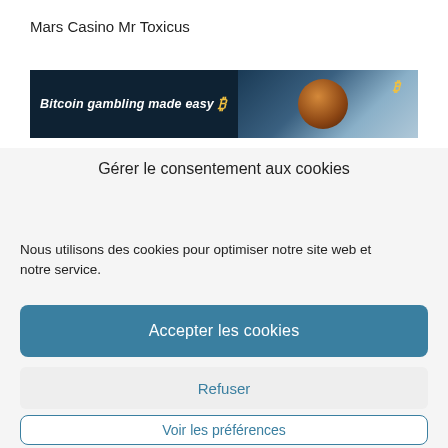Mars Casino Mr Toxicus
[Figure (screenshot): Dark banner with text 'Bitcoin gambling made easy' in bold italic white, a golden Bitcoin symbol, a circular orange/brown helmet image, and a blue-toned background with another golden Bitcoin symbol.]
Gérer le consentement aux cookies
Nous utilisons des cookies pour optimiser notre site web et notre service.
Accepter les cookies
Refuser
Voir les préférences